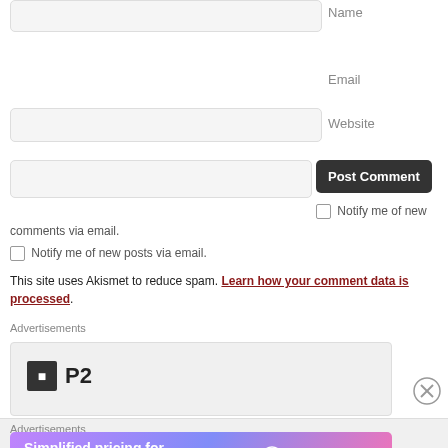Name
Email
Website
Post Comment
Notify me of new comments via email.
Notify me of new posts via email.
This site uses Akismet to reduce spam. Learn how your comment data is processed.
Advertisements
[Figure (logo): P2 logo with black square and P2 text]
Advertisements
[Figure (infographic): WordPress.com advertisement banner: Simplified pricing for everything you need.]